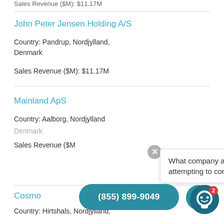Sales Revenue ($M): $11.17M
John Peter Jensen Holding A/S
Country: Pandrup, Nordjylland, Denmark
Sales Revenue ($M): $11.17M
Mainland ApS
Country: Aalborg, Nordjylland
Denmark
Sales Revenue ($M):
What company are you attempting to contact?
Cosmo
Country: Hirtshals, Nordjylland,